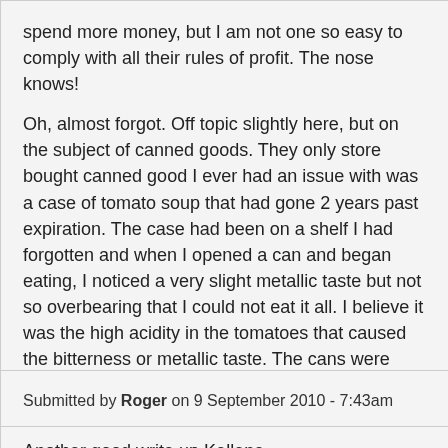spend more money, but I am not one so easy to comply with all their rules of profit. The nose knows!
Oh, almost forgot. Off topic slightly here, but on the subject of canned goods. They only store bought canned good I ever had an issue with was a case of tomato soup that had gone 2 years past expiration. The case had been on a shelf I had forgotten and when I opened a can and began eating, I noticed a very slight metallic taste but not so overbearing that I could not eat it all. I believe it was the high acidity in the tomatoes that caused the bitterness or metallic taste. The cans were eaten rather quickly, but there were no bad after effects.
Another good write up Kellene.
reply
Submitted by Roger on 9 September 2010 - 7:43am